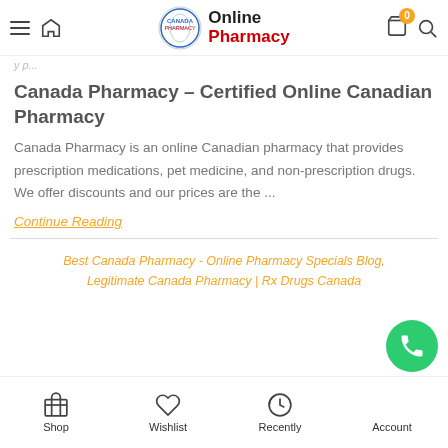Online Pharmacy
Canada Pharmacy – Certified Online Canadian Pharmacy
Canada Pharmacy is an online Canadian pharmacy that provides prescription medications, pet medicine, and non-prescription drugs. We offer discounts and our prices are the ...
Continue Reading
Best Canada Pharmacy - Online Pharmacy Specials Blog, Legitimate Canada Pharmacy | Rx Drugs Canada
Shop  Wishlist  Recently  Account